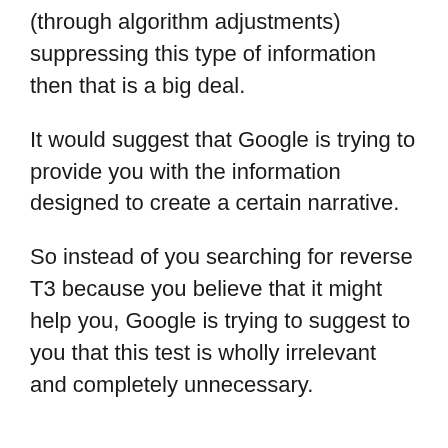(through algorithm adjustments) suppressing this type of information then that is a big deal.
It would suggest that Google is trying to provide you with the information designed to create a certain narrative.
So instead of you searching for reverse T3 because you believe that it might help you, Google is trying to suggest to you that this test is wholly irrelevant and completely unnecessary.